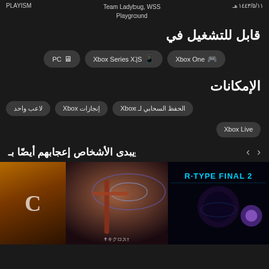١٤٤٣/٥/١١ هـ   Team Ladybug, WSS Playground   PLAYISM
قابل للتشغيل في
PC  Xbox Series X|S  Xbox One
الإمكانات
لاعب واحد  إنجازات Xbox  الحفظ السحابي لـ Xbox  Xbox Live
يبدى الأشخاص إعجابهم أيضًا بـ
[Figure (screenshot): Three game tile thumbnails shown in a horizontal row: a partial tile on the left with orange/fire background and large letter, a middle tile showing an anime character with a large gun/scythe, and a right tile showing R-TYPE FINAL 2 logo on a dark space background.]